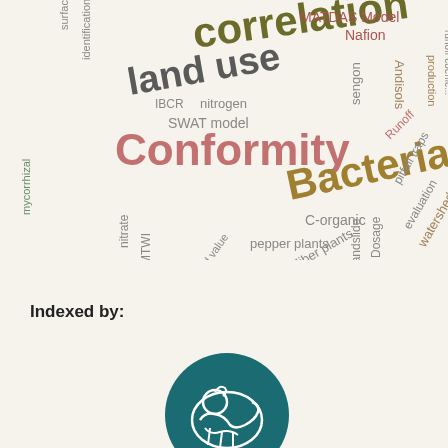[Figure (other): Word cloud containing scientific/academic keywords in various colors, sizes, and rotations including: correlation, land use, Conformity, Bacteria, MATDAS Model, Nafion, Andisols, surface, identification, IBCR, nitrogen, SWAT model, sengon, Runoff, runoff coefficients, production, mycorrhizal, C-organic, nitrate, MTWI, land value, pepper plants, Fiber plants, Landslide, Dosage, pitfall traps, evaluation, watershed]
Indexed by:
[Figure (logo): Circular teal/dark cyan logo with a white dragon or animal figure (appears to be a Copernicus/academic indexing service logo)]